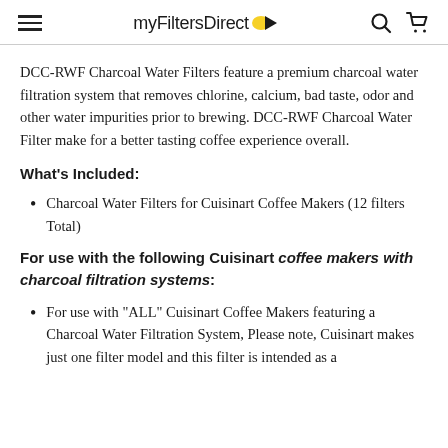myFiltersDirect
DCC-RWF Charcoal Water Filters feature a premium charcoal water filtration system that removes chlorine, calcium, bad taste, odor and other water impurities prior to brewing. DCC-RWF Charcoal Water Filter make for a better tasting coffee experience overall.
What's Included:
Charcoal Water Filters for Cuisinart Coffee Makers (12 filters Total)
For use with the following Cuisinart coffee makers with charcoal filtration systems:
For use with "ALL" Cuisinart Coffee Makers featuring a Charcoal Water Filtration System, Please note, Cuisinart makes just one filter model and this filter is intended as a